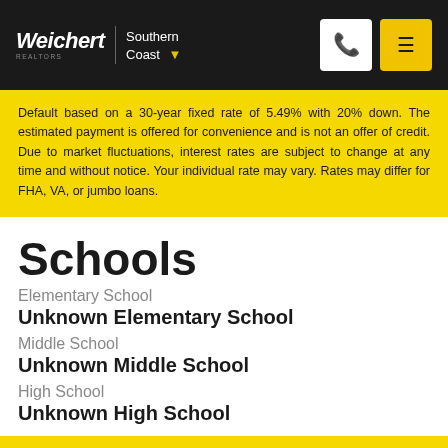Weichert | Southern Coast
Default based on a 30-year fixed rate of 5.49% with 20% down. The estimated payment is offered for convenience and is not an offer of credit. Due to market fluctuations, interest rates are subject to change at any time and without notice. Your individual rate may vary. Rates may differ for FHA, VA, or jumbo loans.
Schools
Elementary School
Unknown Elementary School
Middle School
Unknown Middle School
High School
Unknown High School